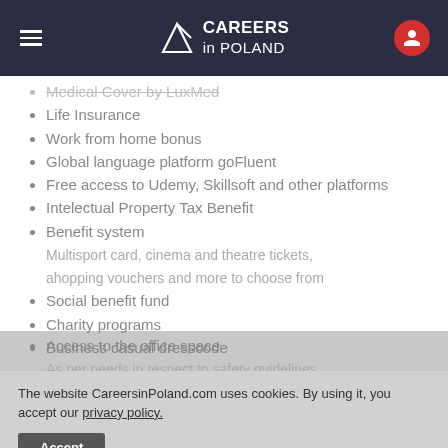Careers in Poland
Medical Cover by LuxMed
Life Insurance
Work from home bonus
Global language platform goFluent
Free access to Udemy, Skillsoft and other platforms
Intelectual Property Tax Benefit
Benefit system
Multisport card, cinema and theatre tickets, ahopping vouchers and more to choose from
Social benefit fund
Charity programs
Business casual dresscode
Access to the office space
As per needs in respect to safety quidelines
R&F...1500-5000PLN gross for successful employment of reffered person
EY Badges program
And minimum of 40h per year for every empoloyee for Develompent activities
Car allowance
The website CareersinPoland.com uses cookies. By using it, you accept our privacy policy.
Accept